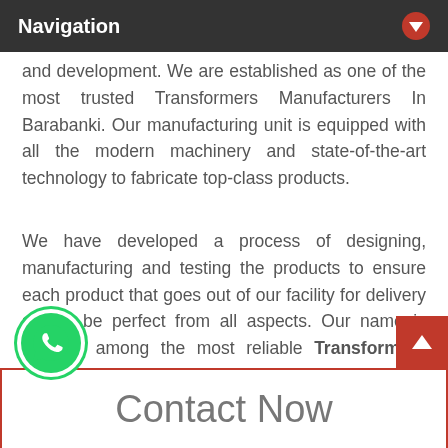Navigation
and development. We are established as one of the most trusted Transformers Manufacturers In Barabanki. Our manufacturing unit is equipped with all the modern machinery and state-of-the-art technology to fabricate top-class products.
We have developed a process of designing, manufacturing and testing the products to ensure each product that goes out of our facility for delivery should be perfect from all aspects. Our name is counted among the most reliable Transformers Exporters and Suppliers In Barabanki because of the same reason. Place an order right now by filling the given enquiry form.
Contact Now